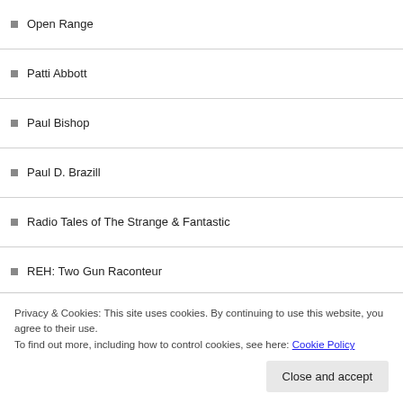Open Range
Patti Abbott
Paul Bishop
Paul D. Brazill
Radio Tales of The Strange & Fantastic
REH: Two Gun Raconteur
Richard Robinson
Scott Cupp
Scott D. Parker
Secret Dead Blog
Spur & Lock
Victor Gischler
Privacy & Cookies: This site uses cookies. By continuing to use this website, you agree to their use.
To find out more, including how to control cookies, see here: Cookie Policy
Close and accept